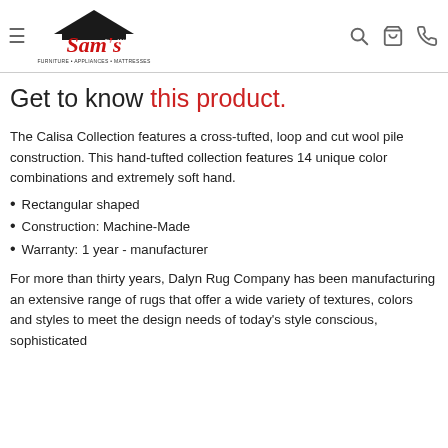Sam's Furniture • Appliances • Mattresses (Since 1946) — navigation header with hamburger menu, logo, search, cart, and phone icons
Get to know this product.
The Calisa Collection features a cross-tufted, loop and cut wool pile construction. This hand-tufted collection features 14 unique color combinations and extremely soft hand.
Rectangular shaped
Construction: Machine-Made
Warranty: 1 year - manufacturer
For more than thirty years, Dalyn Rug Company has been manufacturing an extensive range of rugs that offer a wide variety of textures, colors and styles to meet the design needs of today's style conscious, sophisticated